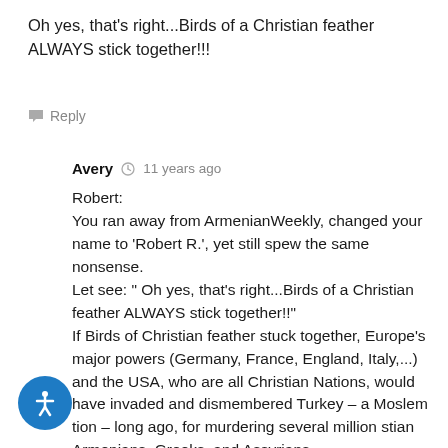Oh yes, that's right...Birds of a Christian feather ALWAYS stick together!!!
Reply
Avery  11 years ago
Robert:
You ran away from ArmenianWeekly, changed your name to 'Robert R.', yet still spew the same nonsense.
Let see: " Oh yes, that's right...Birds of a Christian feather ALWAYS stick together!!"
If Birds of Christian feather stuck together, Europe's major powers (Germany, France, England, Italy,...) and the USA, who are all Christian Nations, would have invaded and dismembered Turkey – a Moslem tion – long ago, for murdering several million stian Armenians, Greeks, and Assyrians.
ring WW1 Christian Germany was a very close